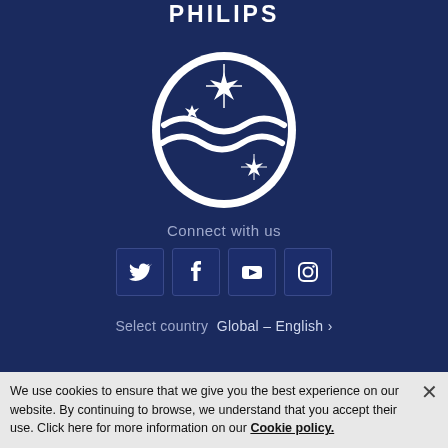[Figure (logo): Philips logo: white shield shape with star/sparkle and wave motifs, PHILIPS text above, on dark navy background]
Connect with us
[Figure (infographic): Four social media icons in square boxes: Twitter (bird), Facebook (f), YouTube (play button), Instagram (camera)]
Select country  Global – English ›
Contact Philips dictation solutions | Legal notice | Cookie notice | Privacy policy | Terms of use
We use cookies to ensure that we give you the best experience on our website. By continuing to browse, we understand that you accept their use. Click here for more information on our Cookie policy.